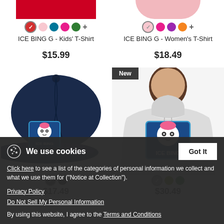[Figure (photo): ICE BING G Kids T-Shirt product image (red shirt, top cropped)]
[Figure (photo): ICE BING G Women's T-Shirt product image (pink shirt, top cropped)]
ICE BING G - Kids' T-Shirt
$15.99
ICE BING G - Women's T-Shirt
$18.49
[Figure (photo): Navy blue baseball cap with ICE BING G logo patch]
[Figure (photo): Light gray hoodie sweatshirt with ICE BING G logo, New badge visible]
$17.49
$30.49
We use cookies
Click here to see a list of the categories of personal information we collect and what we use them for ("Notice at Collection").
Privacy Policy
Do Not Sell My Personal Information
By using this website, I agree to the Terms and Conditions
Got It